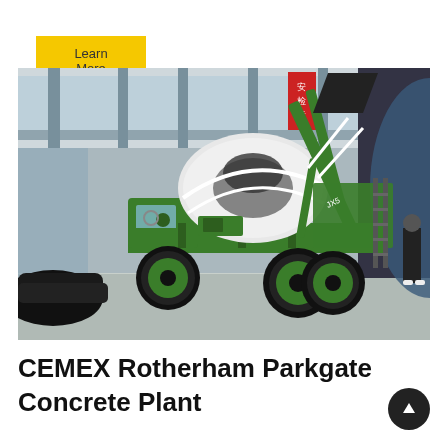Learn More
[Figure (photo): A green and white self-loading concrete mixer truck displayed indoors at what appears to be a trade show or exhibition hall. The truck has large black tires and a raised mixing drum. Chinese red banners are visible in the background along with glass walls and a modern interior. A black car is partially visible on the left and a person stands on the right.]
CEMEX Rotherham Parkgate Concrete Plant